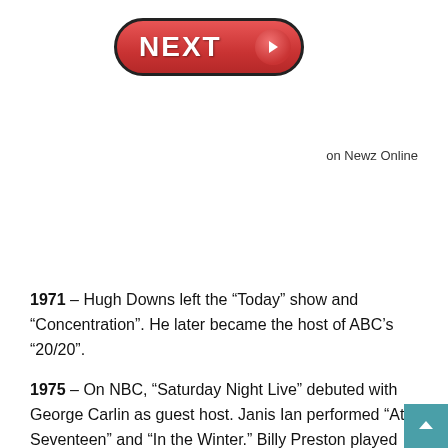[Figure (other): A red pill-shaped NEXT button with bold white text and a circular arrow icon on the right side]
on Newz Online
1971 – Hugh Downs left the “Today” show and “Concentration”. He later became the host of ABC’s “20/20”.
1975 – On NBC, “Saturday Night Live” debuted with George Carlin as guest host. Janis Ian performed “At Seventeen” and “In the Winter.” Billy Preston played “Nothing from Nothing” and “Fancy Lady”. The show really took off the